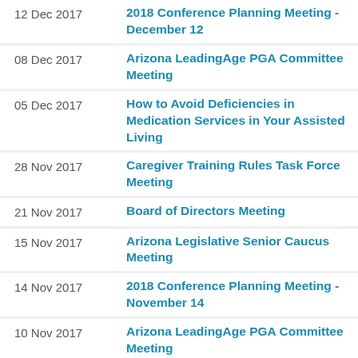12 Dec 2017 | 2018 Conference Planning Meeting - December 12
08 Dec 2017 | Arizona LeadingAge PGA Committee Meeting
05 Dec 2017 | How to Avoid Deficiencies in Medication Services in Your Assisted Living
28 Nov 2017 | Caregiver Training Rules Task Force Meeting
21 Nov 2017 | Board of Directors Meeting
15 Nov 2017 | Arizona Legislative Senior Caucus Meeting
14 Nov 2017 | 2018 Conference Planning Meeting - November 14
10 Nov 2017 | Arizona LeadingAge PGA Committee Meeting
29 Oct 2017 | 2017 Arizona LeadingAge State Night Out "After Dinner Party"
17 Oct 2017 | Board of Directors Meeting
13 Oct 2017 | 2018 Conference Planning